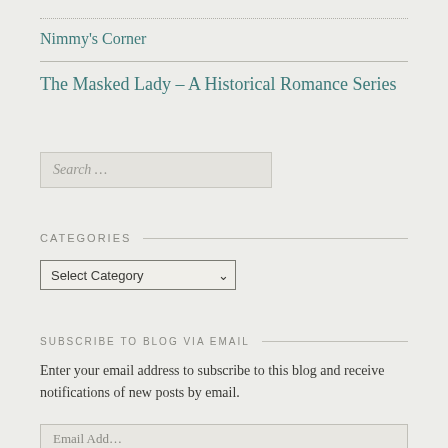Nimmy's Corner
The Masked Lady – A Historical Romance Series
Search …
CATEGORIES
Select Category
SUBSCRIBE TO BLOG VIA EMAIL
Enter your email address to subscribe to this blog and receive notifications of new posts by email.
Email Add…